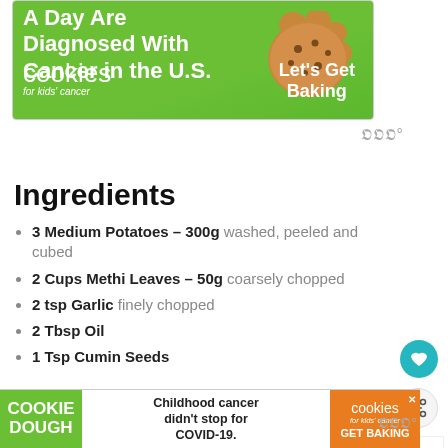[Figure (advertisement): Cookies for Kids Cancer banner ad with green background, cookie image, and 'Let's Get Baking' call to action]
Ingredients
3 Medium Potatoes – 300g washed, peeled and cubed
2 Cups Methi Leaves – 50g coarsely chopped
2 tsp Garlic finely chopped
2 Tbsp Oil
1 Tsp Cumin Seeds
[Figure (advertisement): Bottom banner: COOKIE DOUGH | Childhood cancer didn't stop for COVID-19. | cookies for kids cancer GET BAKING]